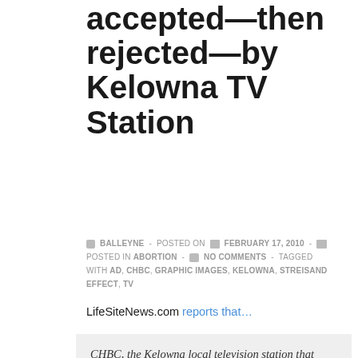accepted—then rejected—by Kelowna TV Station
BALLEYNE - POSTED ON FEBRUARY 17, 2010 - POSTED IN ABORTION - NO COMMENTS - TAGGED WITH AD, CHBC, GRAPHIC IMAGES, KELOWNA, STREISAND EFFECT, TV
LifeSiteNews.com reports that…
CHBC, the Kelowna local television station that drew national coverage this week after agreeing to air a pro-life ad, has changed its mind, claiming that the ad is too graphic.